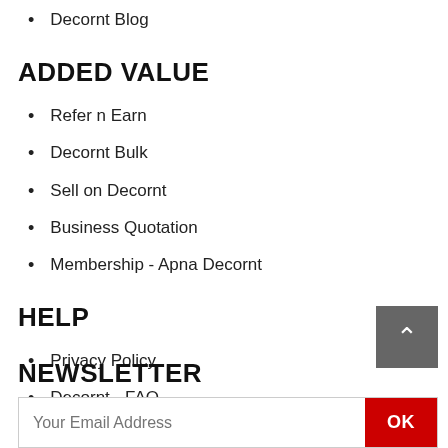Decornt Blog
ADDED VALUE
Refer n Earn
Decornt Bulk
Sell on Decornt
Business Quotation
Membership - Apna Decornt
HELP
Privacy Policy
Decornt - FAQ
Terms and Conditions
Disclaimer
Contact Us
NEWSLETTER
Your Email Address